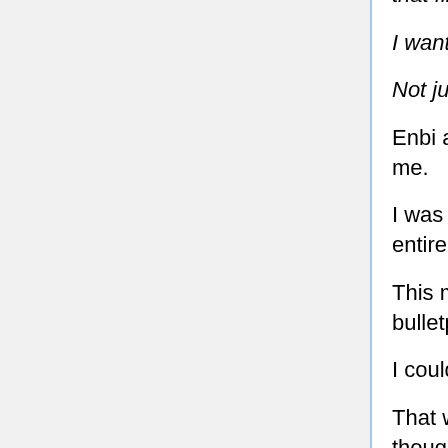that final stage even if only for an instant!!
I want to save you.
Not just Enbi, but you too!!
Enbi and Tomoe-chan's surprised faces were right in front of me.
I was covered in sweat and Hishigami Ama remained entirely composed without a single drop of sweat on her.
This monster could kill a tiger with a hair and break a bulletproof police car door with a tie.
I could never defeat her in a direct confrontation.
That was why I didn't even think about doing that. I only thought about keeping my back to the used guitar shop.
“Do it.”